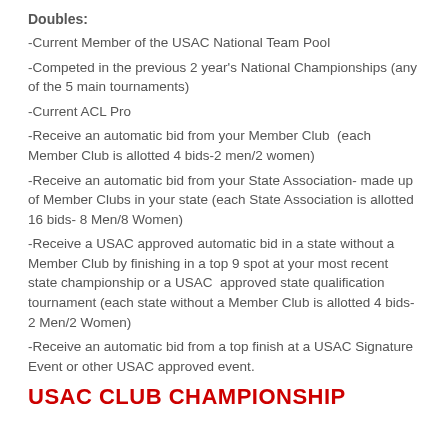Doubles:
-Current Member of the USAC National Team Pool
-Competed in the previous 2 year's National Championships (any of the 5 main tournaments)
-Current ACL Pro
-Receive an automatic bid from your Member Club  (each Member Club is allotted 4 bids-2 men/2 women)
-Receive an automatic bid from your State Association- made up of Member Clubs in your state (each State Association is allotted 16 bids- 8 Men/8 Women)
-Receive a USAC approved automatic bid in a state without a Member Club by finishing in a top 9 spot at your most recent state championship or a USAC  approved state qualification tournament (each state without a Member Club is allotted 4 bids- 2 Men/2 Women)
-Receive an automatic bid from a top finish at a USAC Signature Event or other USAC approved event.
USAC CLUB CHAMPIONSHIP